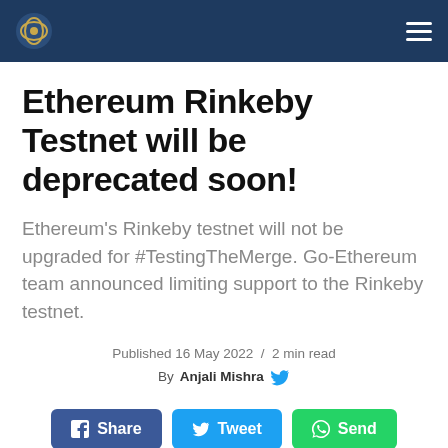Ethereum news website header with logo and navigation
Ethereum Rinkeby Testnet will be deprecated soon!
Ethereum's Rinkeby testnet will not be upgraded for #TestingTheMerge. Go-Ethereum team announced limiting support to the Rinkeby testnet.
Published 16 May 2022 / 2 min read
By Anjali Mishra
[Figure (other): Share buttons: Facebook Share, Twitter Tweet, WhatsApp Send]